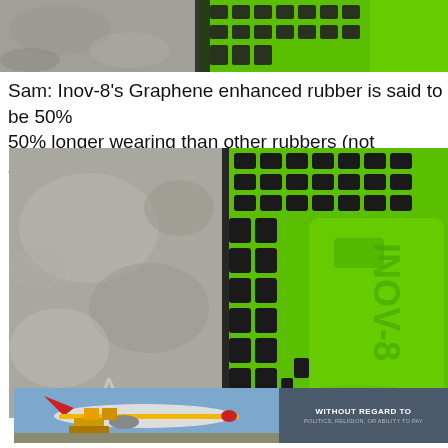[Figure (photo): Close-up of a shoe sole with bright green and black rubber outsole against a rocky stone surface, cropped top portion.]
Sam: Inov-8’s Graphene enhanced rubber is said to be 50% stronger, 50% more elastic and 50% longer wearing than other rubbers (not specified which
[Figure (photo): Close-up comparison of a rocky stone surface on the left and a bright green/black Inov-8 shoe outsole on the right, showing the tread pattern and INOV-8 branding.]
[Figure (photo): Advertisement banner showing a cargo airplane being loaded on the left and a dark blue panel with text 'WITHOUT REGARD TO POLITICS, RELIGION, OR ABILITY TO PAY' on the right.]